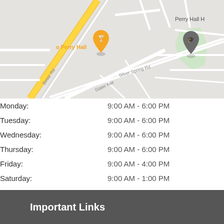[Figure (map): Google Maps screenshot showing Perry Hall area with Belair Rd, Silver Spring Rd, Slater Ave, and location pins for 'o Perry Hall' and 'Perry Hall H']
| Monday: | 9:00 AM - 6:00 PM |
| Tuesday: | 9:00 AM - 6:00 PM |
| Wednesday: | 9:00 AM - 6:00 PM |
| Thursday: | 9:00 AM - 6:00 PM |
| Friday: | 9:00 AM - 4:00 PM |
| Saturday: | 9:00 AM - 1:00 PM |
| Sunday: | Closed |
Important Links